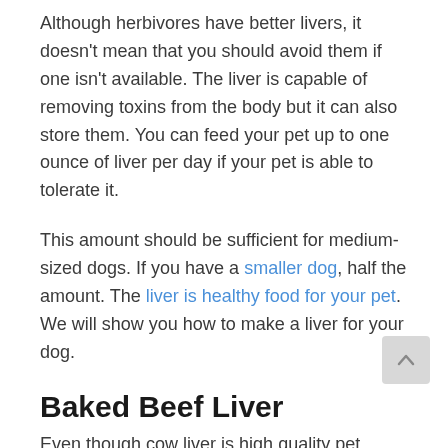Although herbivores have better livers, it doesn't mean that you should avoid them if one isn't available. The liver is capable of removing toxins from the body but it can also store them. You can feed your pet up to one ounce of liver per day if your pet is able to tolerate it.
This amount should be sufficient for medium-sized dogs. If you have a smaller dog, half the amount. The liver is healthy food for your pet. We will show you how to make a liver for your dog.
Baked Beef Liver
Even though cow liver is high quality pet...